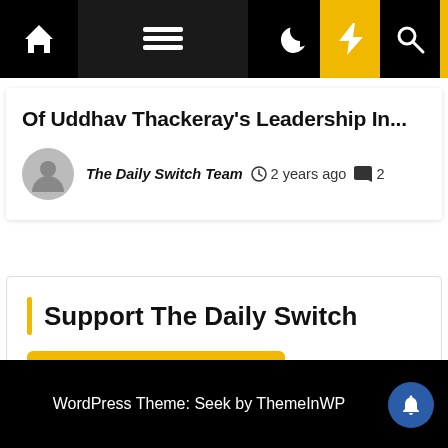Navigation bar with home, menu, moon, bolt, and search icons
Of Uddhav Thackeray's Leadership In…
The Daily Switch Team  2 years ago  2
Support The Daily Switch
[Figure (other): Support Now button secured by Razorpay with arrow icon on yellow background]
WordPress Theme: Seek by ThemeInWP